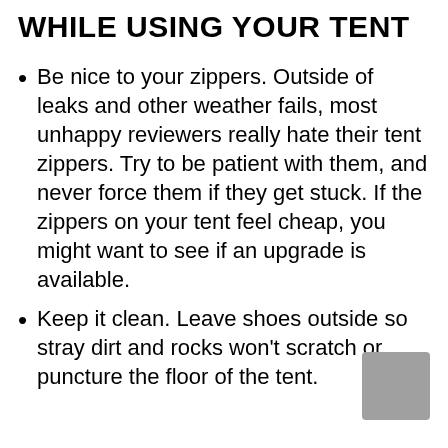WHILE USING YOUR TENT
Be nice to your zippers. Outside of leaks and other weather fails, most unhappy reviewers really hate their tent zippers. Try to be patient with them, and never force them if they get stuck. If the zippers on your tent feel cheap, you might want to see if an upgrade is available.
Keep it clean. Leave shoes outside so stray dirt and rocks won't scratch or puncture the floor of the tent.
Keep prohibited foods…